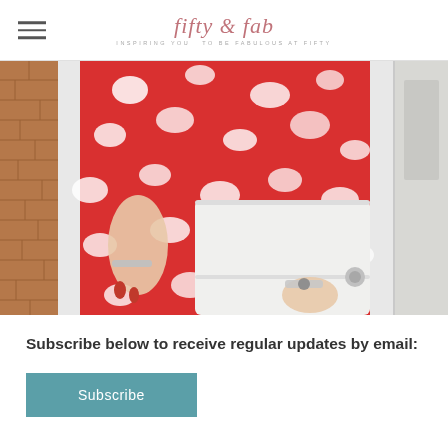fifty & fab — inspiring you to be fabulous at fifty
[Figure (photo): Close-up photo of a woman wearing a red and white floral dress, holding a white structured clutch bag, wearing a silver bracelet and watch, standing in front of a brick wall and white door.]
Subscribe below to receive regular updates by email:
Subscribe